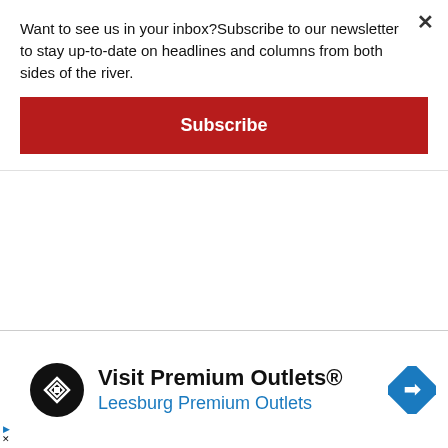Want to see us in your inbox?Subscribe to our newsletter to stay up-to-date on headlines and columns from both sides of the river.
Subscribe
recommended.
Craig Williams, Penn State Extension dairy educator, will present “Mortality Composting, the Good, the Bad and the Animal Disease Response Scenario” starting at 1 p.m. in the beef barn.
Hartman, a livestock educator from Penn State ion, will give a presentation titled “A Doos…
[Figure (infographic): Advertisement banner for Visit Premium Outlets / Leesburg Premium Outlets with black circular logo, navigation arrow diamond icon, and blue subtitle text]